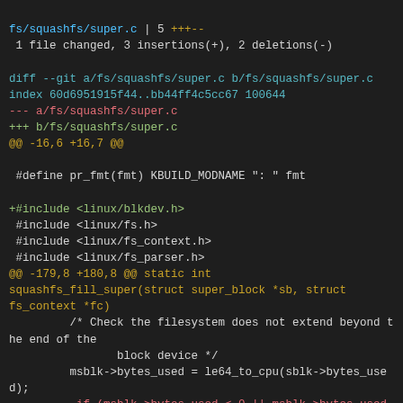fs/squashfs/super.c | 5 +++--
1 file changed, 3 insertions(+), 2 deletions(-)
diff --git a/fs/squashfs/super.c b/fs/squashfs/super.c
index 60d6951915f44..bb44ff4c5cc67 100644
--- a/fs/squashfs/super.c
+++ b/fs/squashfs/super.c
@@ -16,6 +16,7 @@
#define pr_fmt(fmt) KBUILD_MODNAME ": " fmt
+#include <linux/blkdev.h>
 #include <linux/fs.h>
 #include <linux/fs_context.h>
 #include <linux/fs_parser.h>
@@ -179,8 +180,8 @@ static int squashfs_fill_super(struct super_block *sb, struct fs_context *fc)
         /* Check the filesystem does not extend beyond the end of the
                block device */
         msblk->bytes_used = le64_to_cpu(sblk->bytes_used);
-         if (msblk->bytes_used < 0 || msblk->bytes_used >
-                         i_size_read(sb->s_bdev->bd_inode))
+         if (msblk->bytes_used < 0 ||
+             msblk->bytes_used > bdev_nr_bytes(sb->s_bdev))